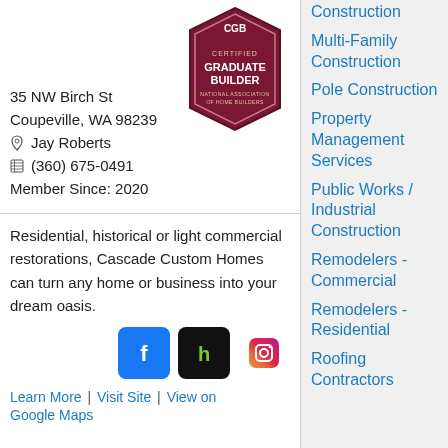[Figure (logo): CGB Certified Graduate Builder badge from National Association of Home Builders - dark red/maroon hexagonal badge]
35 NW Birch St
Coupeville, WA 98239
Jay Roberts
(360) 675-0491
Member Since: 2020
Residential, historical or light commercial restorations, Cascade Custom Homes can turn any home or business into your dream oasis.
[Figure (logo): Social media icons: Facebook, Houzz, Instagram]
Learn More | Visit Site | View on Google Maps
Construction
Multi-Family Construction
Pole Construction
Property Management Services
Public Works / Industrial Construction
Remodelers - Commercial
Remodelers - Residential
Roofing Contractors